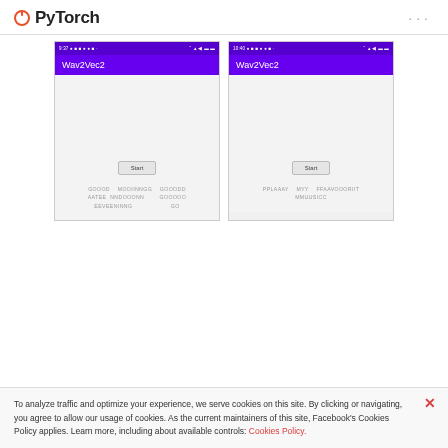PyTorch
[Figure (screenshot): Two Android phone screenshots of the Wav2Vec2 app. Left screenshot shows the app with a Start button and transcribed text: GOOOD MOOIINNGG AATEE NNDOOONN EEVEENINNG GOOODD GOOOOO GO. Right screenshot shows the app with a Start button and transcribed text: PPLAAAY MYY FFAAVOORIIT MMUUSICC]
To analyze traffic and optimize your experience, we serve cookies on this site. By clicking or navigating, you agree to allow our usage of cookies. As the current maintainers of this site, Facebook's Cookies Policy applies. Learn more, including about available controls: Cookies Policy.